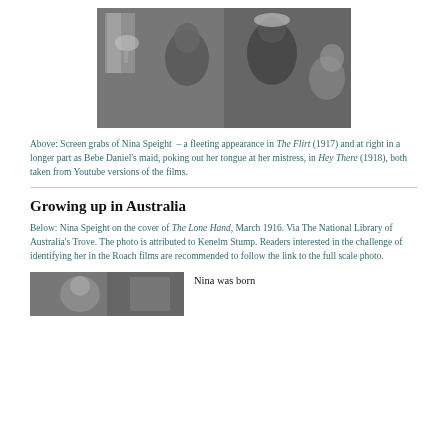[Figure (photo): Black and white screen grab of Nina Speight appearing in a film scene, two women visible, one in a maid's outfit poking out tongue]
Above: Screen grabs of Nina Speight – a fleeting appearance in The Flirt (1917) and at right in a longer part as Bebe Daniel's maid, poking out her tongue at her mistress, in Hey There (1918), both taken from Youtube versions of the films.
Growing up in Australia
Below: Nina Speight on the cover of The Lone Hand, March 1916. Via The National Library of Australia's Trove. The photo is attributed to Kenelm Stump. Readers interested in the challenge of identifying her in the Roach films are recommended to follow the link to the full scale photo.
[Figure (photo): Partial view of a historical photo, Nina Speight on the cover of The Lone Hand magazine]
Nina was born